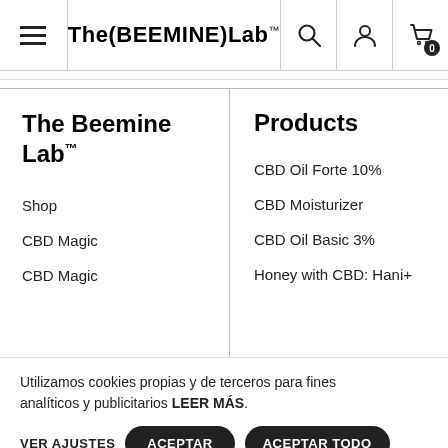The(BEEMINE)Lab™
The Beemine Lab™
Shop
CBD Magic
CBD Magic
Products
CBD Oil Forte 10%
CBD Moisturizer
CBD Oil Basic 3%
Honey with CBD: Hani+
Utilizamos cookies propias y de terceros para fines analíticos y publicitarios LEER MÁS.
VER AJUSTES  ACEPTAR  ACEPTAR TODO  RECHAZAR